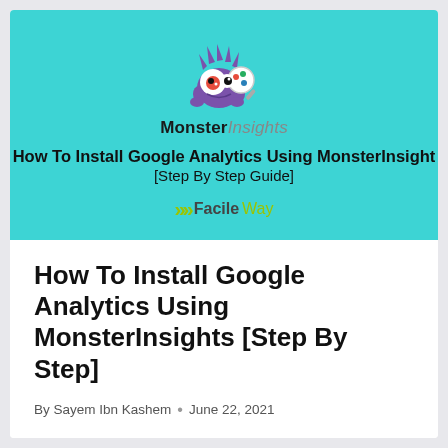[Figure (illustration): Hero banner with teal background showing MonsterInsights mascot (purple monster holding magnifying glass), MonsterInsights logo text, article title overlay, and FacileWay logo]
How To Install Google Analytics Using MonsterInsights [Step By Step]
By Sayem Ibn Kashem • June 22, 2021